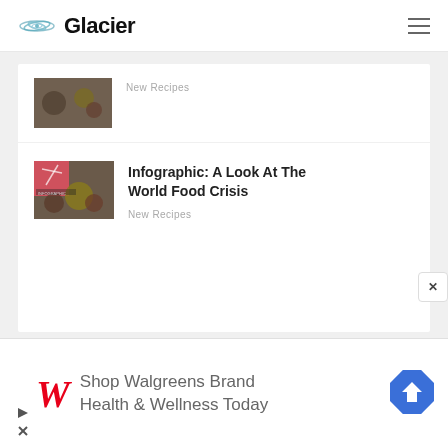Glacier
[Figure (photo): Thumbnail image of food/recipe]
New Recipes
[Figure (photo): Thumbnail image for infographic about world food crisis, pink/red overlay with food items]
Infographic: A Look At The World Food Crisis
New Recipes
[Figure (infographic): Walgreens advertisement: Shop Walgreens Brand Health & Wellness Today]